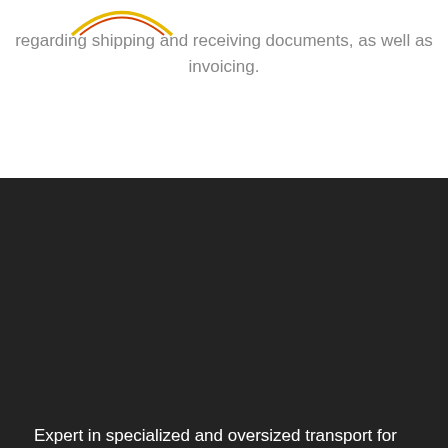[Figure (logo): Arc/rainbow logo graphic at top left]
regarding shipping and receiving documents, as well as invoicing.
Expert in specialized and oversized transport for more than 35 years.
PAGES